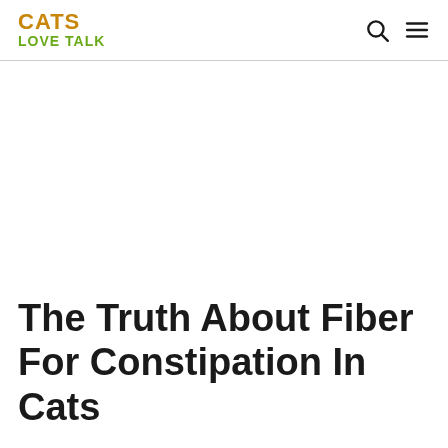CATS LOVE TALK
The Truth About Fiber For Constipation In Cats